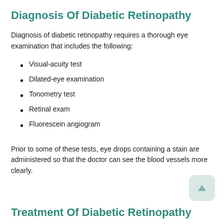Diagnosis Of Diabetic Retinopathy
Diagnosis of diabetic retinopathy requires a thorough eye examination that includes the following:
Visual-acuity test
Dilated-eye examination
Tonometry test
Retinal exam
Fluorescein angiogram
Prior to some of these tests, eye drops containing a stain are administered so that the doctor can see the blood vessels more clearly.
Treatment Of Diabetic Retinopathy